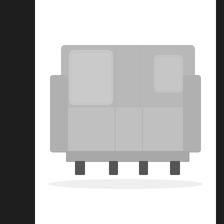[Figure (photo): A gray 3-seater sofa with two cushions on a white background, product listing image]
Confortevole Divano 3 Posti Lunghezza DIVANO LETTO NO...
[Figure (photo): Interior room scene with plants, artwork, and curtains partially visible]
Worthys Run Furniture - Made in the USA
OPEN